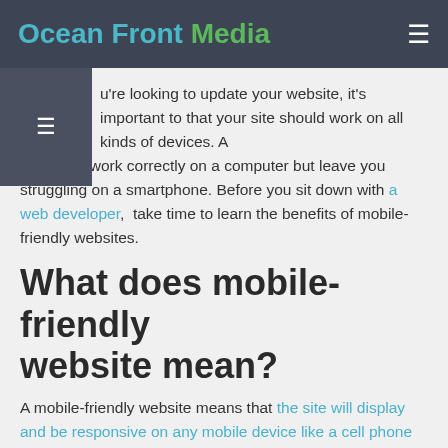Ocean Front Media
u're looking to update your website, it's important to that your site should work on all kinds of devices. A site could work correctly on a computer but leave you struggling on a smartphone. Before you sit down with a web developer,  take time to learn the benefits of mobile-friendly websites.
What does mobile-friendly website mean?
A mobile-friendly website means that the site will display and be responsive on any mobile device like a cell phone or tablet. It should be tailored to fit the dimension of a mobile device.
How to create a mobile-